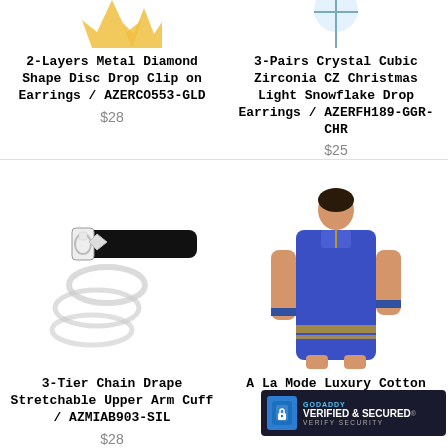[Figure (photo): Gold star/flower decorative shape at top of left column, partially cropped]
2-Layers Metal Diamond Shape Disc Drop Clip on Earrings / AZERCO553-GLD
$28
[Figure (photo): 3-Pairs Crystal Cubic Zirconia CZ Christmas Light Snowflake Drop Earrings product image partially cropped at top]
3-Pairs Crystal Cubic Zirconia CZ Christmas Light Snowflake Drop Earrings / AZERFH189-GGR-CHR
$25
[Figure (photo): Silver 3-Tier Chain Drape Stretchable Upper Arm Cuff bracelet with black band on white background]
3-Tier Chain Drape Stretchable Upper Arm Cuff / AZMIAB903-SIL
$28
[Figure (photo): Woman wearing blue cotton silk tunic dress/kurti, full body shot]
A La Mode Luxury Cotton Silk T... An...
[Figure (logo): GoDaddy Verified & Secured security badge overlay in bottom right corner]